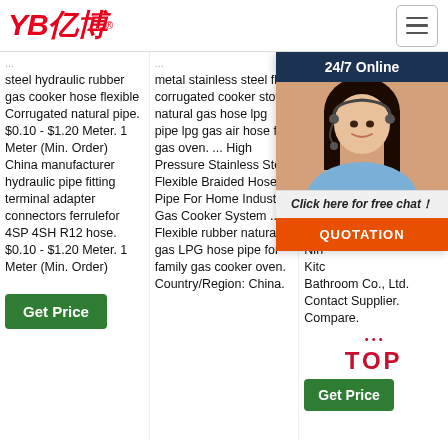[Figure (logo): YB亿博 logo in red italic text with registered trademark symbol]
steel hydraulic rubber gas cooker hose flexible Corrugated natural pipe. $0.10 - $1.20 Meter. 1 Meter (Min. Order) China manufacturer hydraulic pipe fitting terminal adapter connectors ferrulefor 4SP 4SH R12 hose. $0.10 - $1.20 Meter. 1 Meter (Min. Order)
metal stainless steel flex corrugated cooker stove natural gas hose lpg pipe lpg gas air hose for gas oven. ... High Pressure Stainless Steel Flexible Braided Hose Pipe For Home Industry Gas Cooker System ... Flexible rubber natural gas LPG hose pipe for family gas cooker oven. Country/Region: China.
Flexible Natural Gas... Stainless 'spi... Sta... Cor... Yell... Hos... $1.0... 100... Ord... Nin... Kitc... Bathroom Co., Ltd. Contact Supplier. Compare.
[Figure (screenshot): 24/7 Online chat overlay with customer service representative photo, Click here for free chat! text, and QUOTATION orange button]
[Figure (logo): TOP badge with dots in red]
Get Price
Get Price